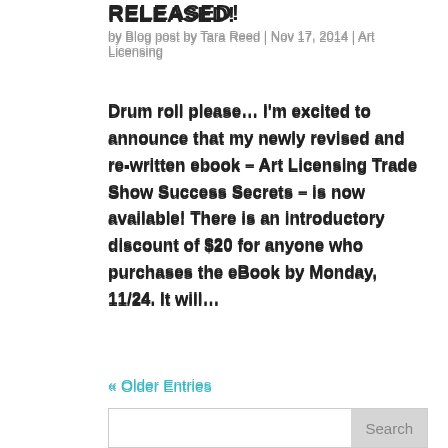RELEASED!
by Blog post by Tara Reed | Nov 17, 2014 | Art Licensing
Drum roll please… I'm excited to announce that my newly revised and re-written ebook – Art Licensing Trade Show Success Secrets – is now available! There is an introductory discount of $20 for anyone who purchases the eBook by Monday, 11/24.  It will…
« Older Entries
Search
Recent Posts
SURTEX 2016 – The Story of Stuff… by the Design Tourist